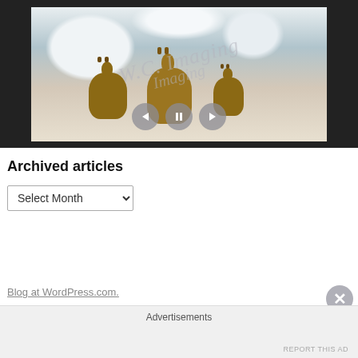[Figure (photo): Photo of three deer in a snowy winter scene with navigation controls (prev, pause, next) overlaid at the bottom, shown inside a dark-framed display/tablet device]
Archived articles
Select Month (dropdown)
Blog at WordPress.com.
Advertisements
REPORT THIS AD